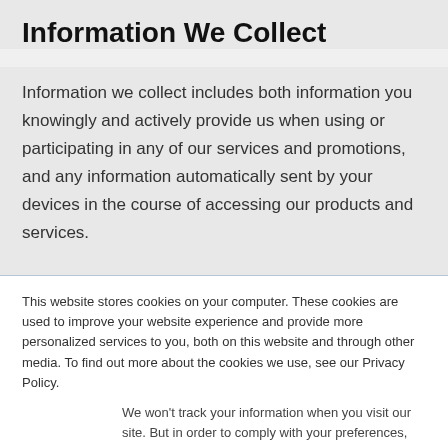Information We Collect
Information we collect includes both information you knowingly and actively provide us when using or participating in any of our services and promotions, and any information automatically sent by your devices in the course of accessing our products and services.
This website stores cookies on your computer. These cookies are used to improve your website experience and provide more personalized services to you, both on this website and through other media. To find out more about the cookies we use, see our Privacy Policy.
We won't track your information when you visit our site. But in order to comply with your preferences, we'll have to use just one tiny cookie so that you're not asked to make this choice again.
Accept  Decline